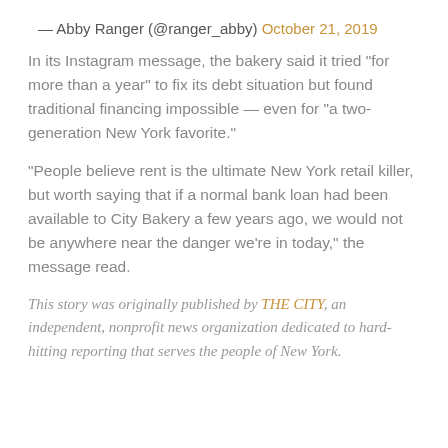— Abby Ranger (@ranger_abby) October 21, 2019
In its Instagram message, the bakery said it tried “for more than a year” to fix its debt situation but found traditional financing impossible — even for “a two-generation New York favorite.”
“People believe rent is the ultimate New York retail killer, but worth saying that if a normal bank loan had been available to City Bakery a few years ago, we would not be anywhere near the danger we’re in today,” the message read.
This story was originally published by THE CITY, an independent, nonprofit news organization dedicated to hard-hitting reporting that serves the people of New York.